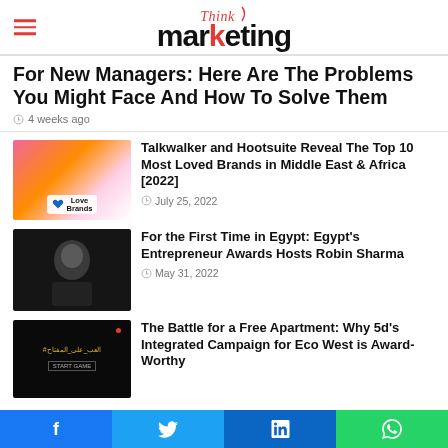Think marketing
For New Managers: Here Are The Problems You Might Face And How To Solve Them
4 weeks ago
[Figure (illustration): Love Brands promotional image with colorful abstract shapes and heart logo]
Talkwalker and Hootsuite Reveal The Top 10 Most Loved Brands in Middle East & Africa [2022]
July 25, 2022
[Figure (photo): Portrait of a man in black shirt against dark background]
For the First Time in Egypt: Egypt's Entrepreneur Awards Hosts Robin Sharma
May 31, 2022
[Figure (photo): Nighttime cityscape with Arabic text hashtag]
The Battle for a Free Apartment: Why 5d's Integrated Campaign for Eco West is Award-Worthy
Facebook Twitter LinkedIn WhatsApp